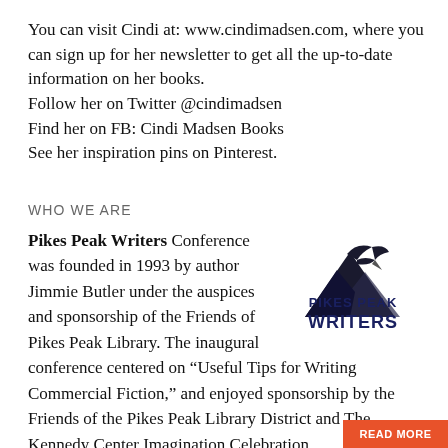You can visit Cindi at: www.cindimadsen.com, where you can sign up for her newsletter to get all the up-to-date information on her books.
Follow her on Twitter @cindimadsen
Find her on FB: Cindi Madsen Books
See her inspiration pins on Pinterest.
WHO WE ARE
Pikes Peak Writers Conference was founded in 1993 by author Jimmie Butler under the auspices and sponsorship of the Friends of Pikes Peak Library. The inaugural conference centered on “Useful Tips for Writing Commercial Fiction,” and enjoyed sponsorship by the Friends of the Pikes Peak Library District and The Kennedy Center Imagination Celebration.
[Figure (logo): Pikes Peak Writers logo with mountain silhouette and bird/pen graphic above the text PIKES PEAK WRITERS in bold navy blue]
READ MORE